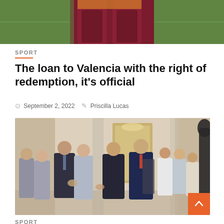[Figure (photo): Partial view of a footballer in AS Roma burgundy/gold kit, legs visible walking on pitch]
SPORT
The loan to Valencia with the right of redemption, it's official
September 2, 2022   Priscilla Lucas
[Figure (photo): Group of men in suits and casual clothes standing in an ornate lobby/reception area, appears to be a football transfer signing meeting. Badge reads '5 min read'.]
SPORT